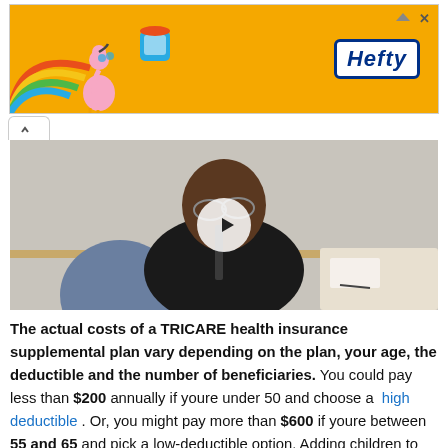[Figure (photo): Orange Hefty advertisement banner with rainbow, flamingo, and cup graphics on the left, and Hefty logo on the right]
[Figure (photo): Video thumbnail of a man wearing glasses and a dark shirt sitting at a desk, with a circular play button overlay in the center]
The actual costs of a TRICARE health insurance supplemental plan vary depending on the plan, your age, the deductible and the number of beneficiaries. You could pay less than $200 annually if youre under 50 and choose a high deductible . Or, you might pay more than $600 if youre between 55 and 65 and pick a low-deductible option. Adding children to your plan also adds to the cost of